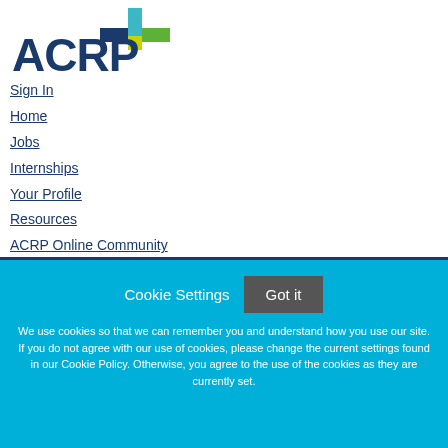[Figure (logo): ACRP logo with a blue-green plus/cross symbol and dark blue ACRP text]
Sign In
Home
Jobs
Internships
Your Profile
Resources
ACRP Online Community
HELP
Employers Post Jobs
Cookie Settings  Got it
We use cookies so that we can remember you and understand how you use our site. If you do not agree with our use of cookies, please change the current settings found in our Cookie Policy. Otherwise, you agree to the use of the cookies as they are currently set.